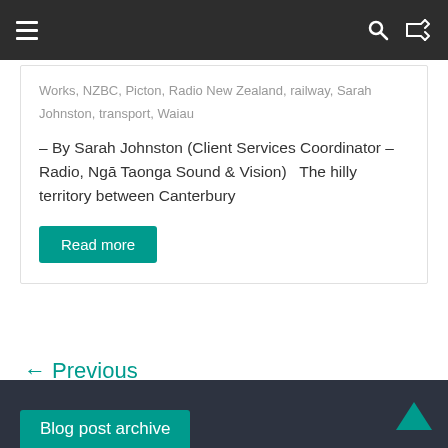Navigation bar with hamburger menu, search icon, and shuffle icon
Works, NZBC, Picton, Radio New Zealand, railway, Sarah Johnston, transport, Waiau
– By Sarah Johnston (Client Services Coordinator – Radio, Ngā Taonga Sound & Vision)   The hilly territory between Canterbury
Read more
← Previous
Blog post archive